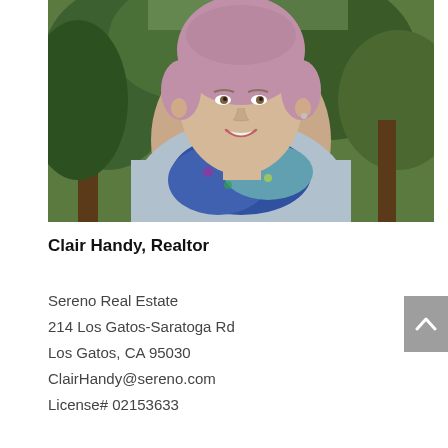[Figure (photo): Headshot photo of Clair Handy, a woman with short pink/purple hair, wearing a light blue cardigan and a colorful blue/green/purple scarf, smiling outdoors with trees in the background.]
Clair Handy, Realtor
Sereno Real Estate
214 Los Gatos-Saratoga Rd
Los Gatos, CA 95030
ClairHandy@sereno.com
License# 02153633